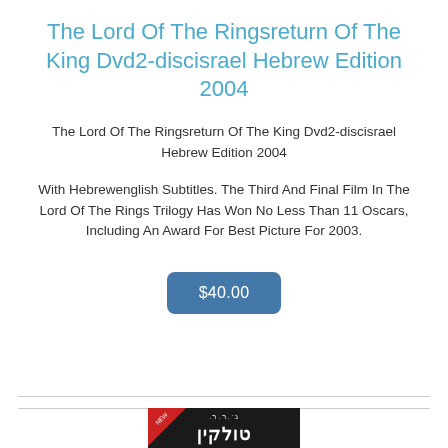The Lord Of The Ringsreturn Of The King Dvd2-discisrael Hebrew Edition 2004
The Lord Of The Ringsreturn Of The King Dvd2-discisrael Hebrew Edition 2004
With Hebrewenglish Subtitles. The Third And Final Film In The Lord Of The Rings Trilogy Has Won No Less Than 11 Oscars, Including An Award For Best Picture For 2003.
$40.00
[Figure (photo): Book cover with Hebrew text on dark background, with a red ribbon/badge in the top-left corner]